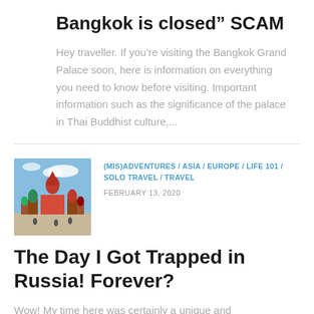Bangkok is closed” SCAM
Hey traveller. If you’re visiting the Bangkok Grand Palace soon, here is information on everything you need to know before visiting. Important information such as the significance of the palace in Thai Buddhist culture,...
[Figure (photo): Thumbnail photo of Saint Basil’s Cathedral in Moscow, Russia, against a blue sky]
(MIS)ADVENTURES / ASIA / EUROPE / LIFE 101 / SOLO TRAVEL / TRAVEL
FEBRUARY 13, 2020
The Day I Got Trapped in Russia! Forever?
Wow! My time here was certainly a unique and